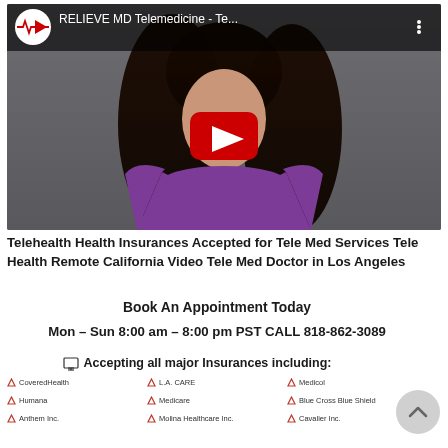[Figure (screenshot): YouTube embedded video thumbnail showing a woman in a purple dress against a gray background, with a red play button in the center. The top bar shows the RELIEVE MD logo and title 'RELIEVE MD Telemedicine - Te...' on dark background.]
Telehealth Health Insurances Accepted for Tele Med Services Tele Health Remote California Video Tele Med Doctor in Los Angeles
Book An Appointment Today
Mon – Sun 8:00 am – 8:00 pm PST CALL 818-862-3089
Accepting all major Insurances including:
CoveredHealth
Humana
Anthem Inc.
L.A. CARE
Medicare
Molina Healthcare Inc.
Medicol
Blue Cross Blue Shield
Cavalier Inc.